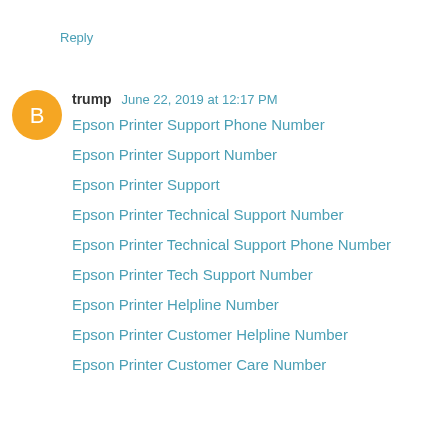Reply
trump  June 22, 2019 at 12:17 PM
Epson Printer Support Phone Number
Epson Printer Support Number
Epson Printer Support
Epson Printer Technical Support Number
Epson Printer Technical Support Phone Number
Epson Printer Tech Support Number
Epson Printer Helpline Number
Epson Printer Customer Helpline Number
Epson Printer Customer Care Number